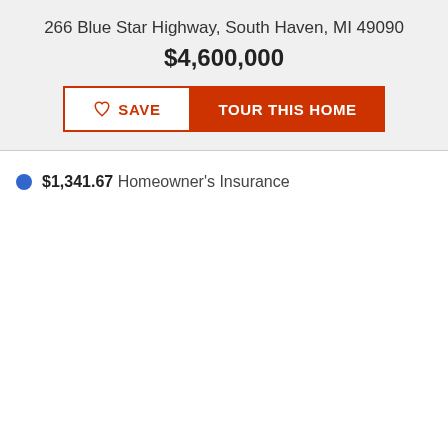266 Blue Star Highway, South Haven, MI 49090
$4,600,000
SAVE | TOUR THIS HOME
$1,341.67 Homeowner's Insurance